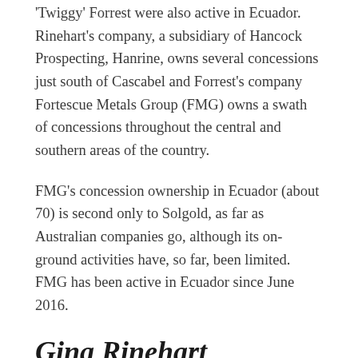'Twiggy' Forrest were also active in Ecuador. Rinehart's company, a subsidiary of Hancock Prospecting, Hanrine, owns several concessions just south of Cascabel and Forrest's company Fortescue Metals Group (FMG) owns a swath of concessions throughout the central and southern areas of the country.
FMG's concession ownership in Ecuador (about 70) is second only to Solgold, as far as Australian companies go, although its on-ground activities have, so far, been limited. FMG has been active in Ecuador since June 2016.
Gina Rinehart
Hancock Prospecting first visited the country in September 2016. Just before concessions were awarded by the mining in early 2018, and then...